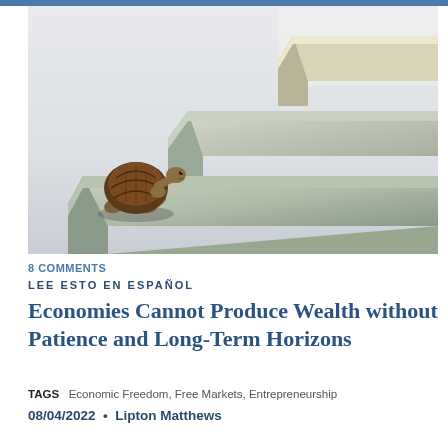[Figure (photo): A turtle climbing marble stone steps, symbolizing slow and steady progress toward wealth and economic growth.]
8 COMMENTS
LEE ESTO EN ESPAÑOL
Economies Cannot Produce Wealth without Patience and Long-Term Horizons
TAGS  Economic Freedom, Free Markets, Entrepreneurship
08/04/2022 • Lipton Matthews